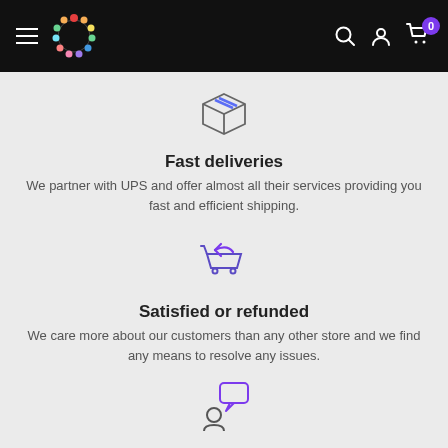Navigation bar with hamburger menu, floral wreath logo, search icon, account icon, and cart with 0 items
[Figure (illustration): Box/package icon outlined in dark grey with blue stripe]
Fast deliveries
We partner with UPS and offer almost all their services providing you fast and efficient shipping.
[Figure (illustration): Shopping cart with return arrow icon in purple/blue]
Satisfied or refunded
We care more about our customers than any other store and we find any means to resolve any issues.
[Figure (illustration): Person with speech bubble icon in purple]